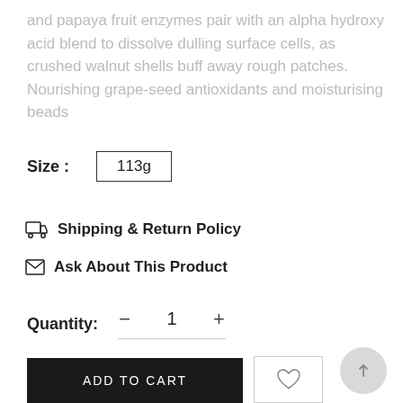and papaya fruit enzymes pair with an alpha hydroxy acid blend to dissolve dulling surface cells, as crushed walnut shells buff away rough patches. Nourishing grape-seed antioxidants and moisturising beads
Size : 113g
Shipping & Return Policy
Ask About This Product
Quantity: - 1 +
ADD TO CART